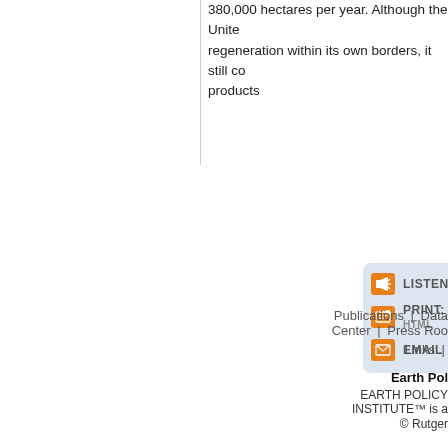380,000 hectares per year. Although the United regeneration within its own borders, it still com products
[Figure (infographic): Action panel with orange icon buttons for LISTEN, PRINT: HTML, and EMAIL on a light blue-grey rounded background]
Publications | Data Center | Press Roo Links |
Earth Pol EARTH POLICY INSTITUTE™ is a © Rutger